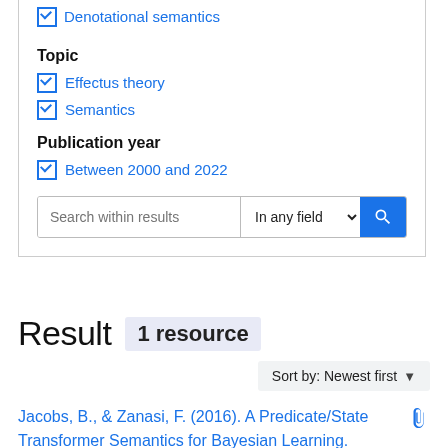☑ Denotational semantics
Topic
☑ Effectus theory
☑ Semantics
Publication year
☑ Between 2000 and 2022
Search within results | In any field
Result  1 resource
Sort by: Newest first
Jacobs, B., & Zanasi, F. (2016). A Predicate/State Transformer Semantics for Bayesian Learning.